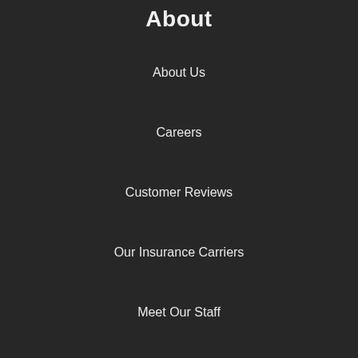About
About Us
Careers
Customer Reviews
Our Insurance Carriers
Meet Our Staff
Insurance Blog